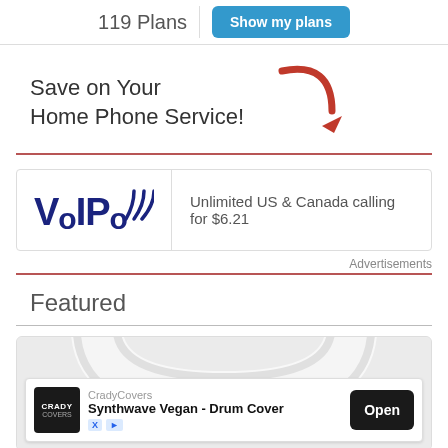119 Plans
Show my plans
Save on Your Home Phone Service!
[Figure (illustration): Red curved arrow pointing downward]
[Figure (logo): VOIPo logo with wifi signal icon in dark blue]
Unlimited US & Canada calling for $6.21
Advertisements
Featured
[Figure (photo): White over-ear headphones on light gray background]
[Figure (screenshot): Ad overlay: CradyCovers - Synthwave Vegan - Drum Cover - Open button]